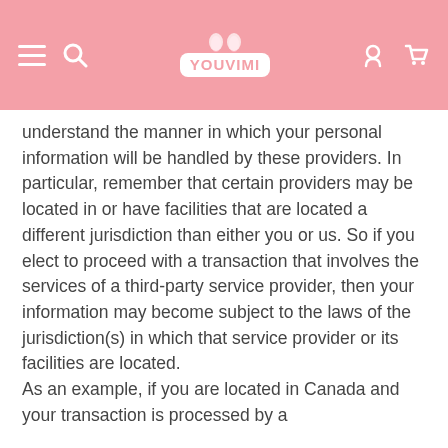YouViMi
understand the manner in which your personal information will be handled by these providers. In particular, remember that certain providers may be located in or have facilities that are located a different jurisdiction than either you or us. So if you elect to proceed with a transaction that involves the services of a third-party service provider, then your information may become subject to the laws of the jurisdiction(s) in which that service provider or its facilities are located. As an example, if you are located in Canada and your transaction is processed by a